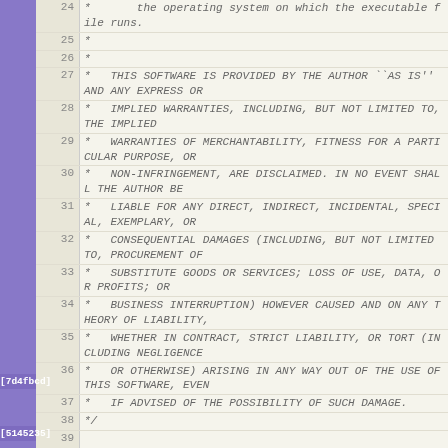Code listing: BSD license comment and includes (lines 24-45)
24   *       the operating system on which the executable file runs.
25   *
26   *
27   *   THIS SOFTWARE IS PROVIDED BY THE AUTHOR ``AS IS'' AND ANY EXPRESS OR
28   *   IMPLIED WARRANTIES, INCLUDING, BUT NOT LIMITED TO, THE IMPLIED
29   *   WARRANTIES OF MERCHANTABILITY, FITNESS FOR A PARTICULAR PURPOSE, OR
30   *   NON-INFRINGEMENT, ARE DISCLAIMED. IN NO EVENT SHALL THE AUTHOR BE
31   *   LIABLE FOR ANY DIRECT, INDIRECT, INCIDENTAL, SPECIAL, EXEMPLARY, OR
32   *   CONSEQUENTIAL DAMAGES (INCLUDING, BUT NOT LIMITED TO, PROCUREMENT OF
33   *   SUBSTITUTE GOODS OR SERVICES; LOSS OF USE, DATA, OR PROFITS; OR
34   *   BUSINESS INTERRUPTION) HOWEVER CAUSED AND ON ANY THEORY OF LIABILITY,
35   *   WHETHER IN CONTRACT, STRICT LIABILITY, OR TORT (INCLUDING NEGLIGENCE
36   *   OR OTHERWISE) ARISING IN ANY WAY OUT OF THE USE OF THIS SOFTWARE, EVEN
37   *   IF ADVISED OF THE POSSIBILITY OF SUCH DAMAGE.
38   */
39
40   #include <stdio.h>
41   #include <unistd.h>
42   #include <stdlib.h>
43   #include <string.h>
44   #include <signal.h>
45   #include <time.h>